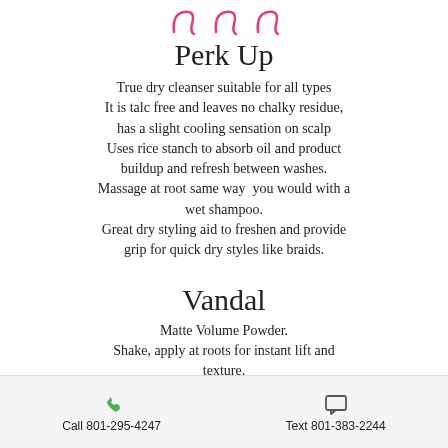[Figure (illustration): Pink decorative script/hanger motifs at top of page]
Perk Up
True dry cleanser suitable for all types It is talc free and leaves no chalky residue, has a slight cooling sensation on scalp Uses rice stanch to absorb oil and product buildup and refresh between washes. Massage at root same way  you would with a wet shampoo. Great dry styling aid to freshen and provide grip for quick dry styles like braids.
Vandal
Matte Volume Powder. Shake, apply at roots for instant lift and texture. Puff on mids and ends and tousle for a messy textured look. Also great to loosen down do's
Call 801-295-4247   Text 801-383-2244